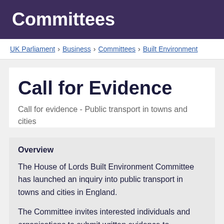Committees
UK Parliament › Business › Committees › Built Environment
Call for Evidence
Call for evidence - Public transport in towns and cities
Overview
The House of Lords Built Environment Committee has launched an inquiry into public transport in towns and cities in England.
The Committee invites interested individuals and organisations to submit written evidence to